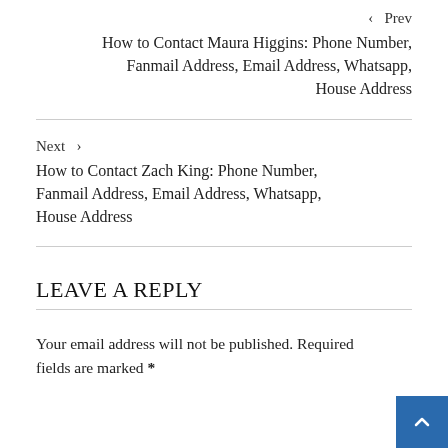‹  Prev
How to Contact Maura Higgins: Phone Number, Fanmail Address, Email Address, Whatsapp, House Address
Next  ›
How to Contact Zach King: Phone Number, Fanmail Address, Email Address, Whatsapp, House Address
LEAVE A REPLY
Your email address will not be published. Required fields are marked *